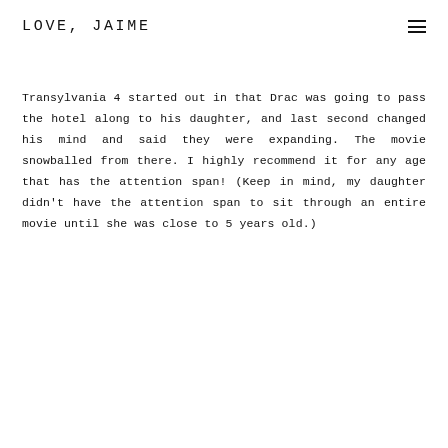LOVE, JAIME
Transylvania 4 started out in that Drac was going to pass the hotel along to his daughter, and last second changed his mind and said they were expanding. The movie snowballed from there. I highly recommend it for any age that has the attention span! (Keep in mind, my daughter didn't have the attention span to sit through an entire movie until she was close to 5 years old.)